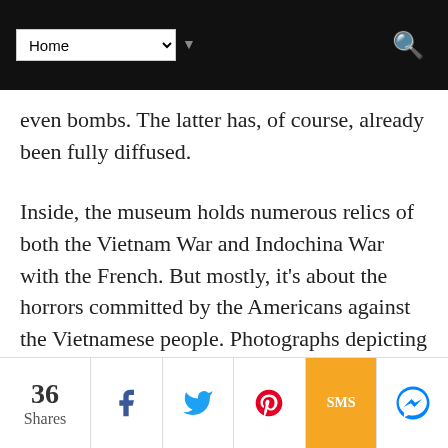Home (navigation bar with search icon)
even bombs. The latter has, of course, already been fully diffused.
Inside, the museum holds numerous relics of both the Vietnam War and Indochina War with the French. But mostly, it’s about the horrors committed by the Americans against the Vietnamese people. Photographs depicting these are aplenty throughout the galleries and some can be outright upsetting for the weak-hearted.
I’ve seen not a few tourists, surprisingly
36 Shares | Facebook | Twitter | Pinterest | SMS | Messenger